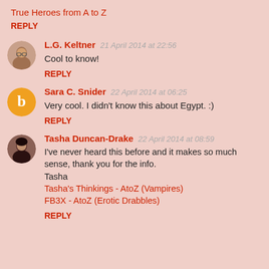True Heroes from A to Z
REPLY
L.G. Keltner  21 April 2014 at 22:56
Cool to know!
REPLY
Sara C. Snider  22 April 2014 at 06:25
Very cool. I didn't know this about Egypt. :)
REPLY
Tasha Duncan-Drake  22 April 2014 at 08:59
I've never heard this before and it makes so much sense, thank you for the info.
Tasha
Tasha's Thinkings - AtoZ (Vampires)
FB3X - AtoZ (Erotic Drabbles)
REPLY